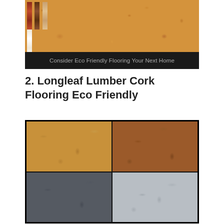[Figure (photo): Photo of eco-friendly flooring samples on a speckled granite/cork surface, with small wood sample strips at top-left. Black caption bar at bottom reads 'Consider Eco Friendly Flooring Your Next Home'.]
Consider Eco Friendly Flooring Your Next Home
2. Longleaf Lumber Cork Flooring Eco Friendly
[Figure (photo): A 2x2 grid photo showing four cork flooring color samples: top-left is light tan/natural cork, top-right is darker reddish-brown cork, bottom-left is dark slate gray cork, bottom-right is light silver/gray cork.]